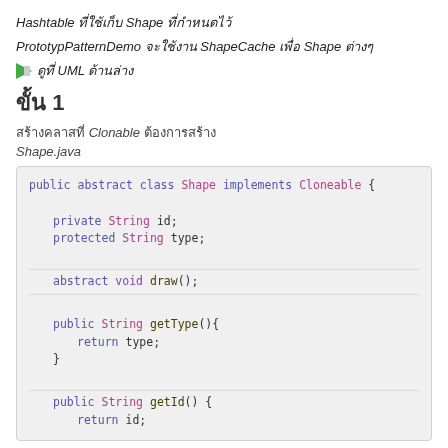Hashtable ที่ใช้เก็บ Shape ที่กำหนดไว้
PrototypPatternDemo จะใช้งาน ShapeCache เพื่อ Shape ต่างๆ
► ดูที่ UML ด้านล่าง
ขั้น 1
สร้างคลาสที่ Clonable ต้องการสร้าง
Shape.java
public abstract class Shape implements Cloneable {
    private String id;
    protected String type;

    abstract void draw();

    public String getType(){
        return type;
    }

    public String getId() {
        return id;